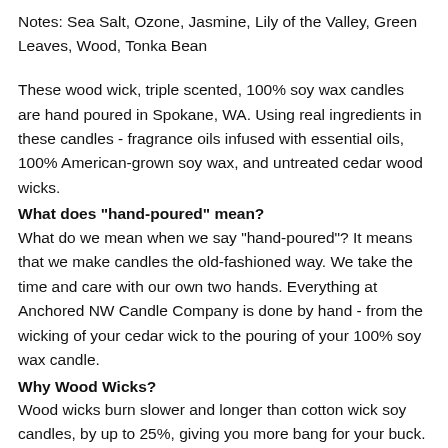Notes: Sea Salt, Ozone, Jasmine, Lily of the Valley, Green Leaves, Wood, Tonka Bean
These wood wick, triple scented, 100% soy wax candles are hand poured in Spokane, WA. Using real ingredients in these candles - fragrance oils infused with essential oils, 100% American-grown soy wax, and untreated cedar wood wicks.
What does "hand-poured" mean?
What do we mean when we say "hand-poured"? It means that we make candles the old-fashioned way. We take the time and care with our own two hands. Everything at Anchored NW Candle Company is done by hand - from the wicking of your cedar wick to the pouring of your 100% soy wax candle.
Why Wood Wicks?
Wood wicks burn slower and longer than cotton wick soy candles, by up to 25%, giving you more bang for your buck. Wood wicks burn hotter for more smell power, leading to a more fragrant candle. Wood wicks have nearly zero carbon buildup and therefore no soot. Wood wicks require less trimming than a cotton wick and our wood wicks are